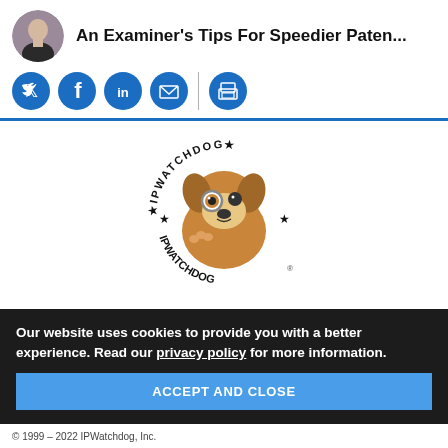An Examiner's Tips For Speedier Paten...
[Figure (logo): IPWatchdog logo — cartoon dog wearing detective hat with magnifying glass, circular text reading IPWATCHDOG around the border]
AQIA was founded in 2000 as a daily blog on patent law and strategy ... protecting your intellectual property. Today IPWatchdog is recognized as the leading sources for ne...
Our website uses cookies to provide you with a better experience. Read our privacy policy for more information.
© 1999 – 2022 IPWatchdog, Inc.